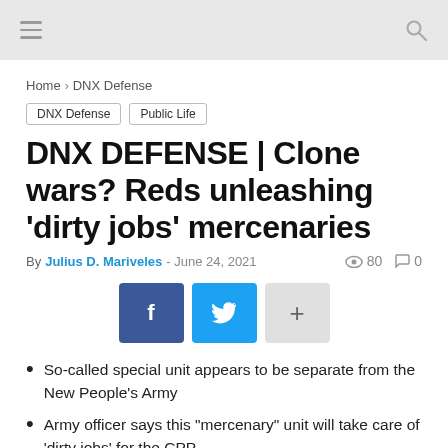≡  🔍
Home › DNX Defense
DNX Defense  Public Life
DNX DEFENSE | Clone wars? Reds unleashing 'dirty jobs' mercenaries
By Julius D. Mariveles - June 24, 2021   80   0
[Figure (infographic): Social share buttons: Facebook (f), Twitter (bird), and a plus (+) button]
So-called special unit appears to be separate from the New People's Army
Army officer says this "mercenary" unit will take care of 'dirty jobs' for the CPP